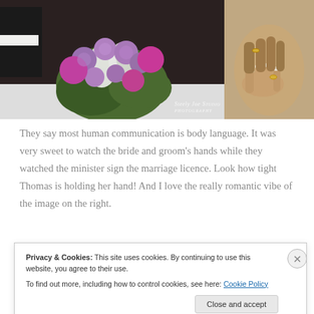[Figure (photo): Two wedding photos side by side: left shows groom's arm in black suit and bride's purple/pink floral bouquet with roses and chrysanthemums, watermarked 'Steely Joe Studio Photography'; right shows close-up of bride and groom's hands clasped together with rings, sepia toned.]
They say most human communication is body language. It was very sweet to watch the bride and groom's hands while they watched the minister sign the marriage licence. Look how tight Thomas is holding her hand! And I love the really romantic vibe of the image on the right.
Privacy & Cookies: This site uses cookies. By continuing to use this website, you agree to their use.
To find out more, including how to control cookies, see here: Cookie Policy
Close and accept